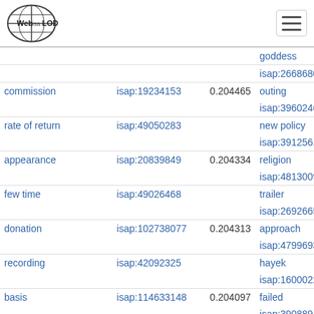Web isa LOD
| term | isap id | score | related term | isap id |
| --- | --- | --- | --- | --- |
|  |  |  | goddess | isap:2668680 |
| commission | isap:19234153 | 0.204465 | outing | isap:3960246 |
| rate of return | isap:49050283 |  | new policy | isap:3912561 |
| appearance | isap:20839849 | 0.204334 | religion | isap:4813009 |
| few time | isap:49026468 |  | trailer | isap:2692665 |
| donation | isap:102738077 | 0.204313 | approach | isap:4799693 |
| recording | isap:42092325 |  | hayek | isap:1600022 |
| basis | isap:114633148 | 0.204097 | failed | isap:3908894 |
| isolationism | isap:69448027 |  | bankruptcy | isap:2539284 |
| concession | isap:20130744 | 0.203955 | process | isap:2725226 |
| acknowledgement | isap:51413293 |  | parade | isap:3885296 |